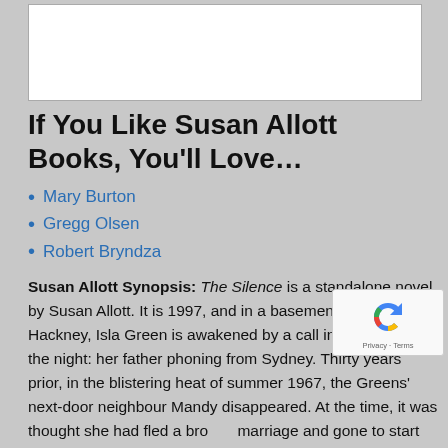[Figure (photo): White image placeholder rectangle at top of page]
If You Like Susan Allott Books, You'll Love…
Mary Burton
Gregg Olsen
Robert Bryndza
Susan Allott Synopsis: The Silence is a standalone novel by Susan Allott. It is 1997, and in a basement flat in Hackney, Isla Green is awakened by a call in the middle of the night: her father phoning from Sydney. Thirty years prior, in the blistering heat of summer 1967, the Greens' next-door neighbour Mandy disappeared. At the time, it was thought she had fled a broken marriage and gone to start anew; but now Mandy's family are trying to reconnect, and there is no trace of her. Isla's father Joe was allegedly the last person to see her alive, and now he's under suspicion of murder.
Isla unwillingly plans to go back to Australia for the first time in a decade, to see her father. There are so Sydney will…